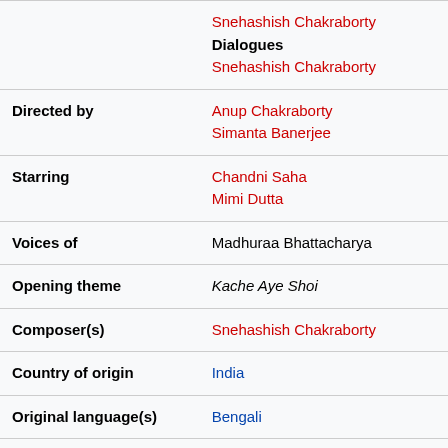| Label | Value |
| --- | --- |
|  | Snehashish Chakraborty
Dialogues
Snehashish Chakraborty |
| Directed by | Anup Chakraborty
Simanta Banerjee |
| Starring | Chandni Saha
Mimi Dutta |
| Voices of | Madhuraa Bhattacharya |
| Opening theme | Kache Aye Shoi |
| Composer(s) | Snehashish Chakraborty |
| Country of origin | India |
| Original language(s) | Bengali |
| No. of seasons | 1 |